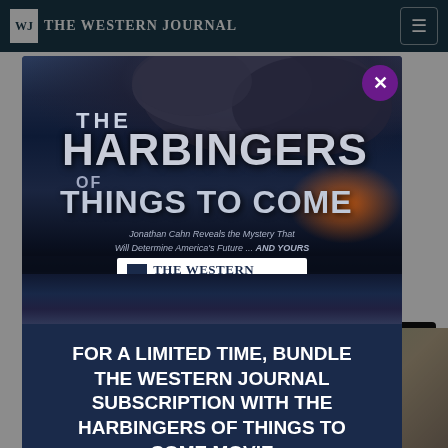THE WESTERN JOURNAL
POTUS
nt's
n. It's
or he
a
[Figure (screenshot): Modal advertisement popup on The Western Journal website. Shows movie poster for 'The Harbingers of Things to Come' with dark dramatic background, smoke and lightning effects. Text reads: 'Jonathan Cahn Reveals the Mystery That Will Determine America's Future ... AND YOURS'. The Western Journal logo appears on the poster. Below the poster: 'FOR A LIMITED TIME, BUNDLE THE WESTERN JOURNAL SUBSCRIPTION WITH THE HARBINGERS OF THINGS TO COME MOVIE'. Purple circle close button (X) in top right of modal.]
Twitter
×